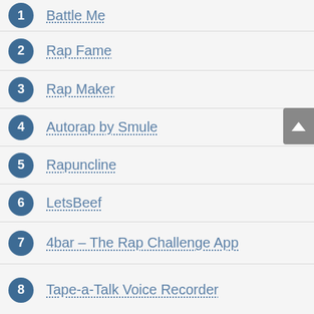1 Battle Me
2 Rap Fame
3 Rap Maker
4 Autorap by Smule
5 Rapuncline
6 LetsBeef
7 4bar – The Rap Challenge App
8 Tape-a-Talk Voice Recorder